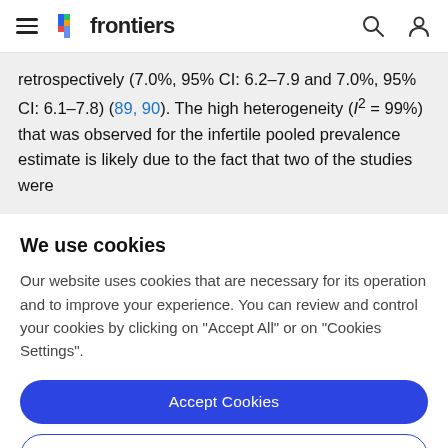frontiers (navigation bar)
retrospectively (7.0%, 95% CI: 6.2–7.9 and 7.0%, 95% CI: 6.1–7.8) (89, 90). The high heterogeneity (I² = 99%) that was observed for the infertile pooled prevalence estimate is likely due to the fact that two of the studies were
We use cookies
Our website uses cookies that are necessary for its operation and to improve your experience. You can review and control your cookies by clicking on "Accept All" or on "Cookies Settings".
Accept Cookies
Cookies Settings